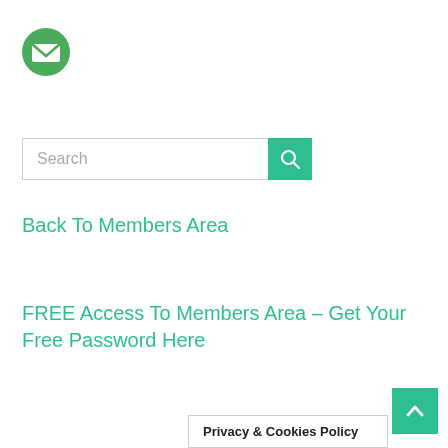[Figure (logo): Green circle with white envelope/mail icon]
[Figure (screenshot): Search bar with text 'Search' and green search button with magnifying glass icon]
Back To Members Area
FREE Access To Members Area – Get Your Free Password Here
Privacy & Cookies Policy
[Figure (other): Green scroll-to-top button with upward chevron arrow]